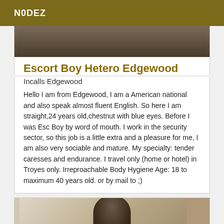N0DEZ
[Figure (photo): Top partial photo strip showing a person, cropped at the top of the page]
Escort Boy Hetero Edgewood
Incalls Edgewood
Hello I am from Edgewood, I am a American national and also speak almost fluent English. So here I am straight,24 years old,chestnut with blue eyes. Before I was Esc Boy by word of mouth. I work in the security sector, so this job is a little extra and a pleasure for me, I am also very sociable and mature. My specialty: tender caresses and endurance. I travel only (home or hotel) in Troyes only. Irreproachable Body Hygiene Age: 18 to maximum 40 years old. or by mail to ;)
[Figure (photo): Bottom partial photo showing a person with dark hair, cropped at the bottom of the page]